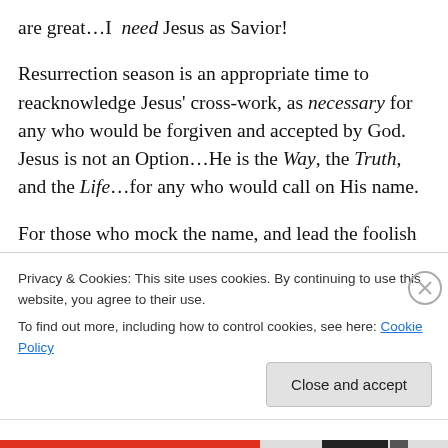are great…I need Jesus as Savior!
Resurrection season is an appropriate time to reacknowledge Jesus' cross-work, as necessary for any who would be forgiven and accepted by God. Jesus is not an Option…He is the Way, the Truth, and the Life…for any who would call on His name.
For those who mock the name, and lead the foolish to reject the necessity of His cross...woe to you…for there is coming a Day of Judgment, when you will not be able to hide behind your illness and it...But perhaps they are one all
Privacy & Cookies: This site uses cookies. By continuing to use this website, you agree to their use.
To find out more, including how to control cookies, see here: Cookie Policy
Close and accept